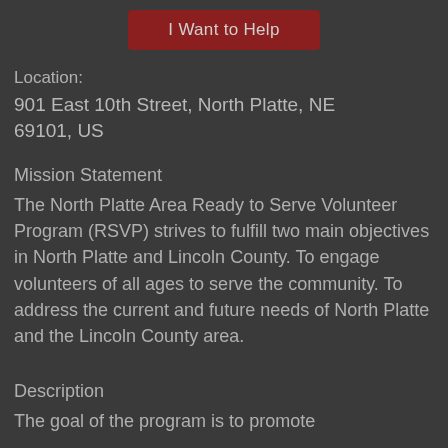[Figure (other): Red button labeled 'I Want to Help']
Location:
901 East 10th Street, North Platte, NE 69101, US
Mission Statement
The North Platte Area Ready to Serve Volunteer Program (RSVP) strives to fulfill two main objectives in North Platte and Lincoln County. To engage volunteers of all ages to serve the community. To address the current and future needs of North Platte and the Lincoln County area.
Description
The goal of the program is to promote